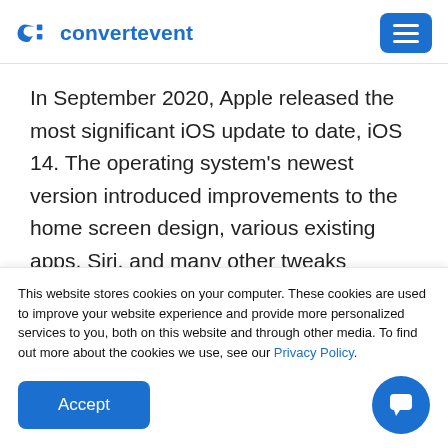convertevent
In September 2020, Apple released the most significant iOS update to date, iOS 14. The operating system's newest version introduced improvements to the home screen design, various existing apps, Siri, and many other tweaks streamlining the iOS interface. The software update also came with a significant policy change in favour of
This website stores cookies on your computer. These cookies are used to improve your website experience and provide more personalized services to you, both on this website and through other media. To find out more about the cookies we use, see our Privacy Policy.